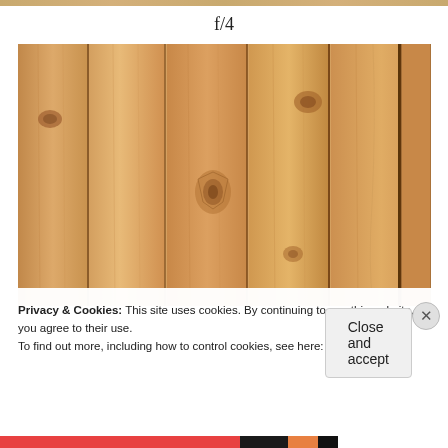f/4
[Figure (photo): Close-up photograph of light pine wood planks with visible knots and vertical grain patterns]
Privacy & Cookies: This site uses cookies. By continuing to use this website, you agree to their use.
To find out more, including how to control cookies, see here: Cookie Policy
Close and accept